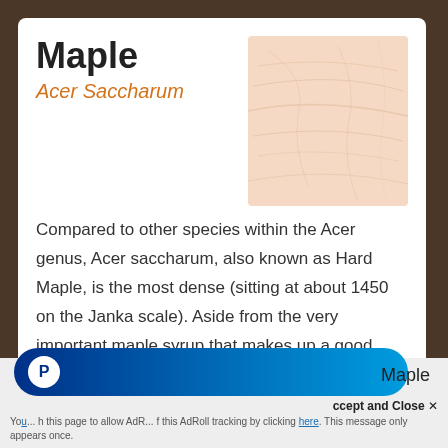Maple
Acer Saccharum
[Figure (photo): Close-up photo of maple wood grain texture, light peach/cream color with subtle grain lines]
Compared to other species within the Acer genus, Acer saccharum, also known as Hard Maple, is the most dense (sitting at about 1450 on the Janka scale). Aside from the very important maple syrup that makes up a good portion of a Viking Lumberjack's diet, this tree produces a wood desirable for its workability, general ease of
Maple
Accept and Close ✕
You ... h this page to allow AdR... f this AdRoll tracking by clicking here. This message only appears once.